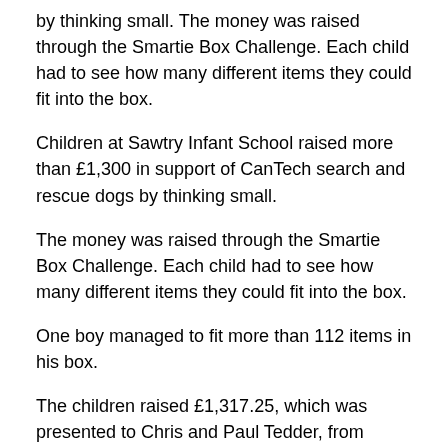by thinking small. The money was raised through the Smartie Box Challenge. Each child had to see how many different items they could fit into the box.
Children at Sawtry Infant School raised more than £1,300 in support of CanTech search and rescue dogs by thinking small.
The money was raised through the Smartie Box Challenge. Each child had to see how many different items they could fit into the box.
One boy managed to fit more than 112 items in his box.
The children raised £1,317.25, which was presented to Chris and Paul Tedder, from CanTech, who visited the school with Echo, a Russian terrier and Charlie, a newfoundland puppy. They visited each class and